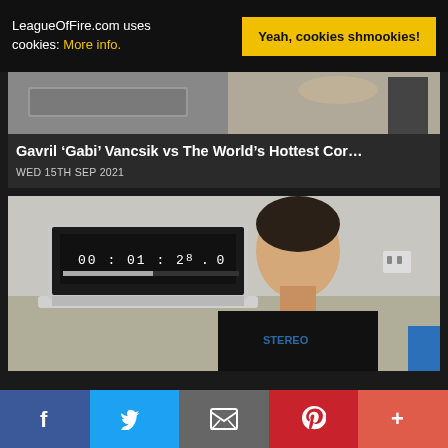LeagueOfFire.com uses cookies: More info.
Yeah, cookies shmookies!
[Figure (photo): Partial view of a table with a laptop and food items, top portion of article card]
Gavril ‘Gabi’ Vancsik vs The World’s Hottest Cor…
WED 15TH SEP 2021
[Figure (photo): Young man in black Stereo t-shirt sitting at table with laptop showing timer 00:01:2X.0]
Facebook | Twitter | Email | Pinterest | More